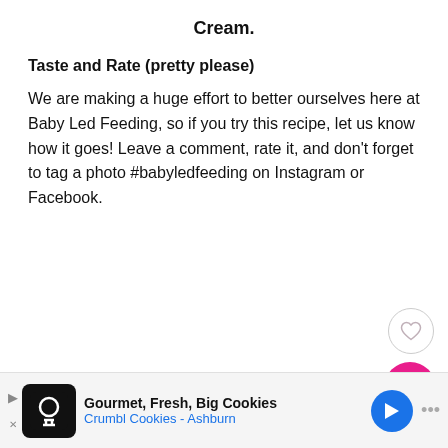Cream.
Taste and Rate (pretty please)
We are making a huge effort to better ourselves here at Baby Led Feeding, so if you try this recipe, let us know how it goes! Leave a comment, rate it, and don't forget to tag a photo #babyledfeeding on Instagram or Facebook.
[Figure (other): Heart (like) button icon, circular outline]
[Figure (other): Share button, pink circular button with share icon]
[Figure (other): What's Next banner with thumbnail and text: Ultimate List of Baby...]
[Figure (other): Advertisement banner: Gourmet, Fresh, Big Cookies - Crumbl Cookies - Ashburn]